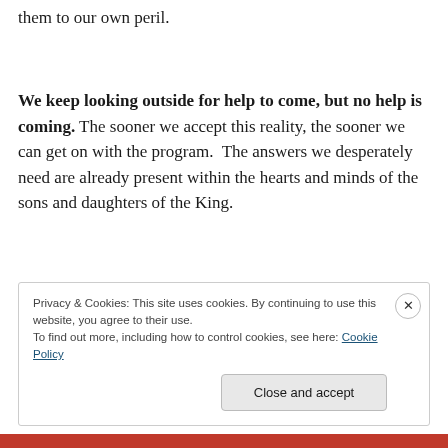them to our own peril.
We keep looking outside for help to come, but no help is coming. The sooner we accept this reality, the sooner we can get on with the program.  The answers we desperately need are already present within the hearts and minds of the sons and daughters of the King.
Privacy & Cookies: This site uses cookies. By continuing to use this website, you agree to their use.
To find out more, including how to control cookies, see here: Cookie Policy